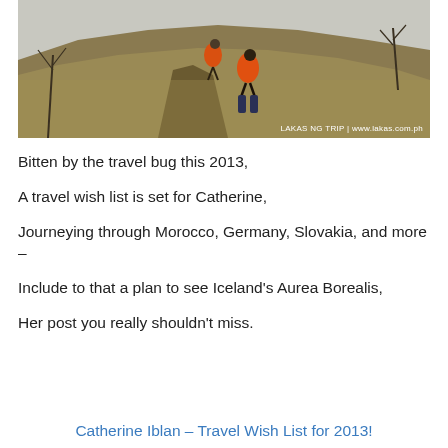[Figure (photo): Two hikers with orange backpacks walking up a dry grassy hillside with bare trees. Watermark reads: LAKAS NG TRIP | www.lakas.com.ph]
Bitten by the travel bug this 2013,
A travel wish list is set for Catherine,
Journeying through Morocco, Germany, Slovakia, and more –
Include to that a plan to see Iceland's Aurea Borealis,
Her post you really shouldn't miss.
Catherine Iblan – Travel Wish List for 2013!